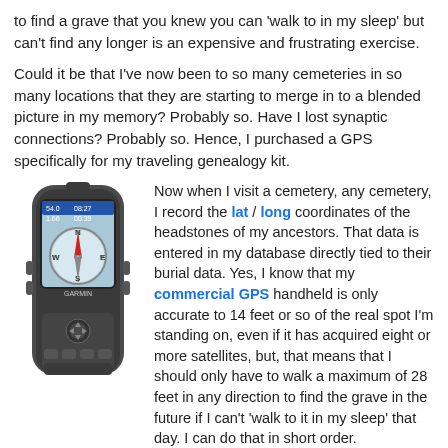to find a grave that you knew you can 'walk to in my sleep' but can't find any longer is an expensive and frustrating exercise.
Could it be that I've now been to so many cemeteries in so many locations that they are starting to merge in to a blended picture in my memory? Probably so. Have I lost synaptic connections? Probably so. Hence, I purchased a GPS specifically for my traveling genealogy kit.
[Figure (photo): A Garmin handheld GPS device showing a compass screen with coordinates 54.0, 08:27, 1.66, 00:39]
Now when I visit a cemetery, any cemetery, I record the lat / long coordinates of the headstones of my ancestors. That data is entered in my database directly tied to their burial data. Yes, I know that my commercial GPS handheld is only accurate to 14 feet or so of the real spot I'm standing on, even if it has acquired eight or more satellites, but, that means that I should only have to walk a maximum of 28 feet in any direction to find the grave in the future if I can't 'walk to it in my sleep' that day. I can do that in short order.